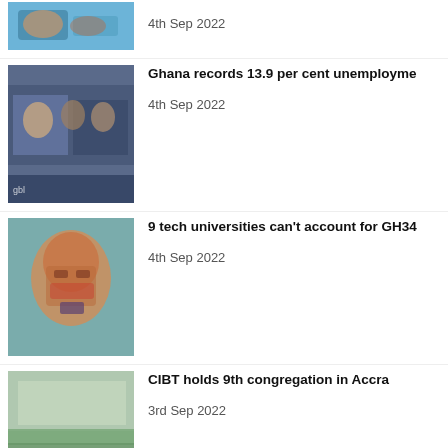[Figure (photo): Close-up photo of hands, medical/health context]
4th Sep 2022
[Figure (photo): Conference or meeting scene with people at a table]
Ghana records 13.9 per cent unemployme
4th Sep 2022
[Figure (photo): Portrait of a man wearing glasses]
9 tech universities can't account for GH34
4th Sep 2022
[Figure (photo): Large group photo outdoors in front of a building]
CIBT holds 9th congregation in Accra
3rd Sep 2022